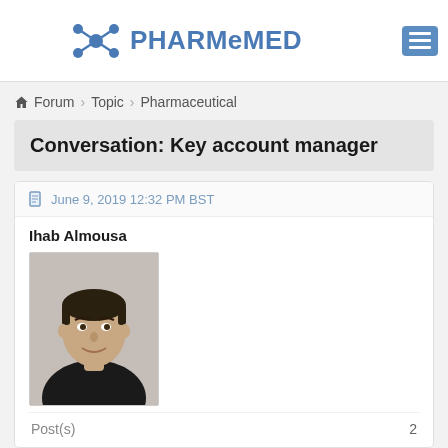PHARMeMED
Forum  Topic  Pharmaceutical
Conversation: Key account manager
June 9, 2019 12:32 PM BST
Ihab Almousa
[Figure (photo): Profile photo of Ihab Almousa, a man in a dark shirt]
Post(s)  2